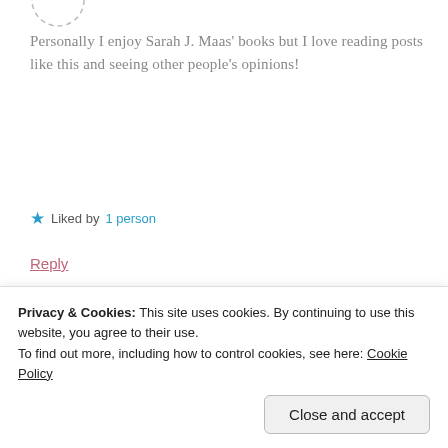[Figure (illustration): Dashed circle avatar placeholder at top left]
Personally I enjoy Sarah J. Maas' books but I love reading posts like this and seeing other people's opinions!
★ Liked by 1 person
Reply
Sarika
AUG 20, 2018 AT 7:27 PM
[Figure (logo): Between the Pages blog circular logo/avatar]
Privacy & Cookies: This site uses cookies. By continuing to use this website, you agree to their use.
To find out more, including how to control cookies, see here: Cookie Policy
Close and accept